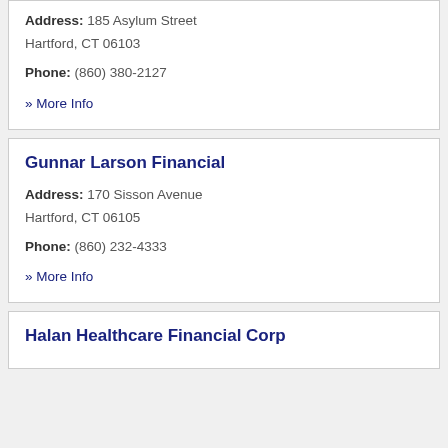Address: 185 Asylum Street Hartford, CT 06103
Phone: (860) 380-2127
» More Info
Gunnar Larson Financial
Address: 170 Sisson Avenue Hartford, CT 06105
Phone: (860) 232-4333
» More Info
Halan Healthcare Financial Corp